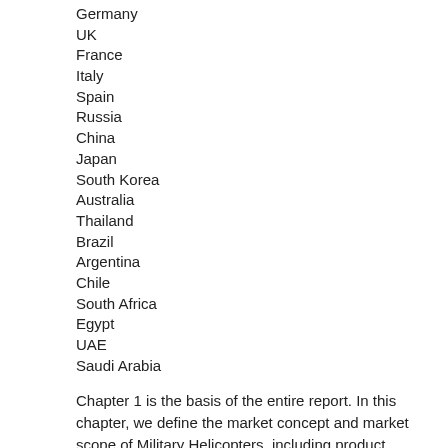Germany
UK
France
Italy
Spain
Russia
China
Japan
South Korea
Australia
Thailand
Brazil
Argentina
Chile
South Africa
Egypt
UAE
Saudi Arabia
Chapter 1 is the basis of the entire report. In this chapter, we define the market concept and market scope of Military Helicopters, including product classification, application areas, and the entire report covered area.